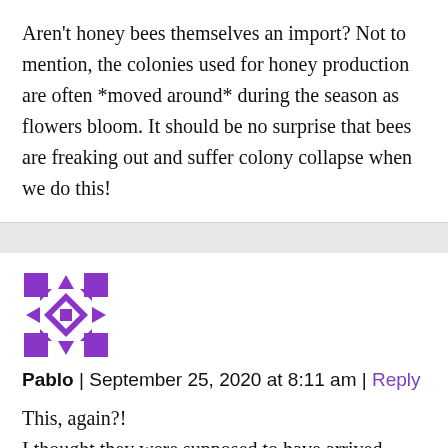Aren't honey bees themselves an import? Not to mention, the colonies used for honey production are often *moved around* during the season as flowers bloom. It should be no surprise that bees are freaking out and suffer colony collapse when we do this!
[Figure (illustration): Purple geometric avatar icon resembling a snowflake or star quilt pattern made of squares and triangles]
Pablo | September 25, 2020 at 8:11 am | Reply
This, again?! I thought they were supposed to have arrived, already. More scare tactics and